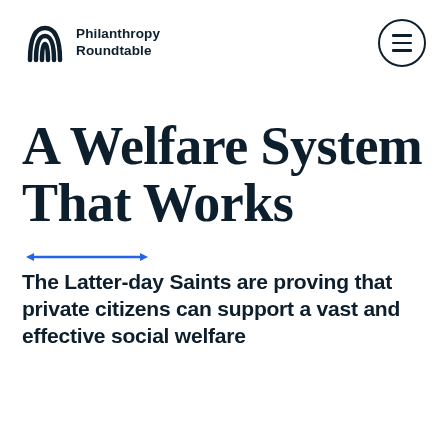[Figure (logo): Philanthropy Roundtable logo with arch icon and bold text]
A Welfare System That Works
The Latter-day Saints are proving that private citizens can support a vast and effective social welfare